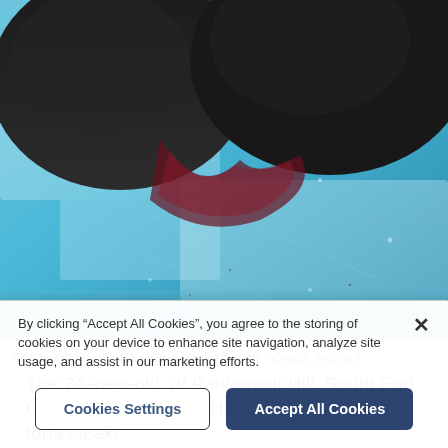[Figure (photo): Close-up photo of dark-colored bluefin tuna flesh on a blue surface, viewed from above. The fish appears to have been gutted.]
The bluefin tuna was gutted on the beach - Credit: Archant
The 24-year-old, of Parliament Hill, South End Green, told the Ham&High: “I really wanted a tuna steak!
“I just expected to go out in the village afterwards and
By clicking “Accept All Cookies”, you agree to the storing of cookies on your device to enhance site navigation, analyze site usage, and assist in our marketing efforts.
Cookies Settings
Accept All Cookies